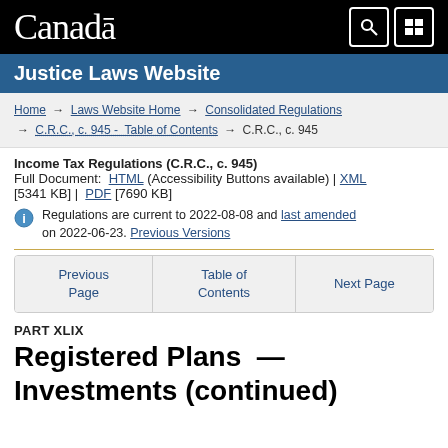Canada | Justice Laws Website
Home → Laws Website Home → Consolidated Regulations → C.R.C., c. 945 - Table of Contents → C.R.C., c. 945
Income Tax Regulations (C.R.C., c. 945)
Full Document: HTML (Accessibility Buttons available) | XML [5341 KB] | PDF [7690 KB]
Regulations are current to 2022-08-08 and last amended on 2022-06-23. Previous Versions
| Previous Page | Table of Contents | Next Page |
| --- | --- | --- |
PART XLIX
Registered Plans — Investments (continued)